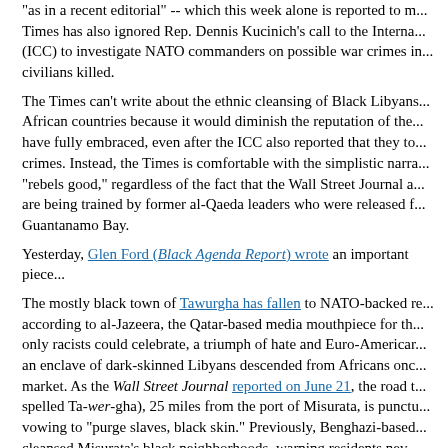"as in a recent editorial" -- which this week alone is reported to h... Times has also ignored Rep. Dennis Kucinich's call to the International Criminal Court (ICC) to investigate NATO commanders on possible war crimes in... civilians killed.
The Times can't write about the ethnic cleansing of Black Libyan... African countries because it would diminish the reputation of the rebels they have fully embraced, even after the ICC also reported that they too committed war crimes. Instead, the Times is comfortable with the simplistic narrative of "rebels good," regardless of the fact that the Wall Street Journal also reported that rebels are being trained by former al-Qaeda leaders who were released from Guantanamo Bay.
Yesterday, Glen Ford (Black Agenda Report) wrote an important piece...
The mostly black town of Tawurgha has fallen to NATO-backed rebels, according to al-Jazeera, the Qatar-based media mouthpiece for the operation only racists could celebrate, a triumph of hate and Euro-American... an enclave of dark-skinned Libyans descended from Africans once sold into market. As the Wall Street Journal reported on June 21, the road to Tawurgha (also spelled Ta-wer-gha), 25 miles from the port of Misurata, is punctuated by rebels vowing to "purge slaves, black skin." Previously, Benghazi-based rebels ethnically cleansed Misurata's black neighborhoods, warning residents never to return to homes or classrooms.
Rebels claimed Tawurgha's defenders used civilians as "human shields" during the assault -- the stock phrase deployed to justify massacres of non-combatants. Obama has, in effect, been arming a racist lynch mob and calling...